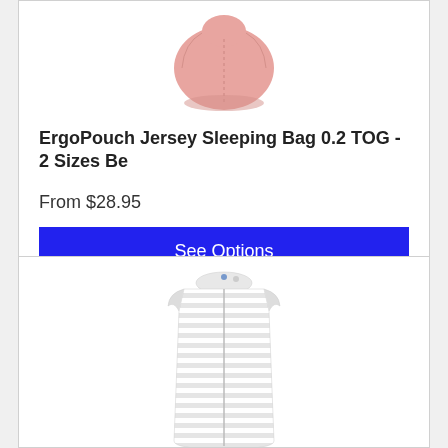[Figure (photo): Pink ErgoPouch jersey sleeping bag product image, partially cropped at top]
ErgoPouch Jersey Sleeping Bag 0.2 TOG - 2 Sizes Be
From $28.95
See Options
[Figure (photo): White and grey striped ErgoPouch sleeping bag product image, shown full length]